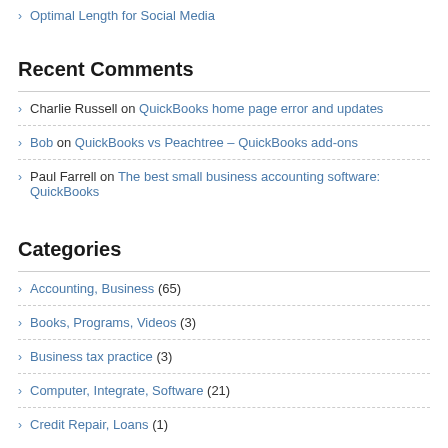Optimal Length for Social Media
Recent Comments
Charlie Russell on QuickBooks home page error and updates
Bob on QuickBooks vs Peachtree – QuickBooks add-ons
Paul Farrell on The best small business accounting software: QuickBooks
Categories
Accounting, Business (65)
Books, Programs, Videos (3)
Business tax practice (3)
Computer, Integrate, Software (21)
Credit Repair, Loans (1)